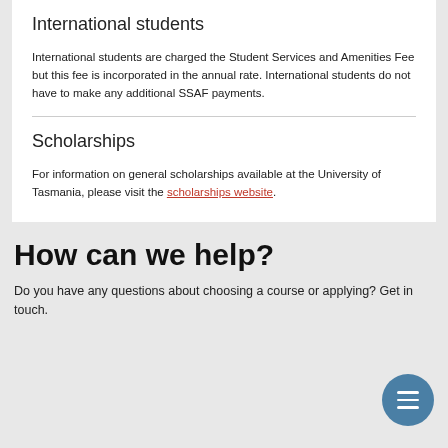International students
International students are charged the Student Services and Amenities Fee but this fee is incorporated in the annual rate. International students do not have to make any additional SSAF payments.
Scholarships
For information on general scholarships available at the University of Tasmania, please visit the scholarships website.
How can we help?
Do you have any questions about choosing a course or applying? Get in touch.